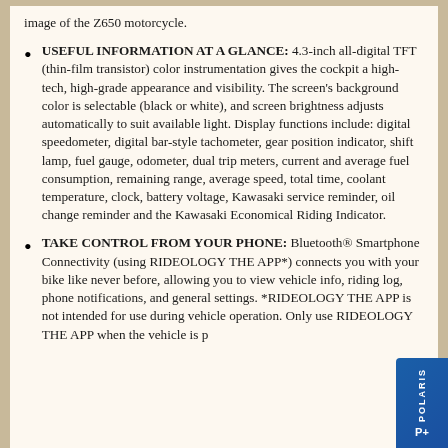image of the Z650 motorcycle.
USEFUL INFORMATION AT A GLANCE: 4.3-inch all-digital TFT (thin-film transistor) color instrumentation gives the cockpit a high-tech, high-grade appearance and visibility. The screen’s background color is selectable (black or white), and screen brightness adjusts automatically to suit available light. Display functions include: digital speedometer, digital bar-style tachometer, gear position indicator, shift lamp, fuel gauge, odometer, dual trip meters, current and average fuel consumption, remaining range, average speed, total time, coolant temperature, clock, battery voltage, Kawasaki service reminder, oil change reminder and the Kawasaki Economical Riding Indicator.
TAKE CONTROL FROM YOUR PHONE: Bluetooth® Smartphone Connectivity (using RIDEOLOGY THE APP*) connects you with your bike like never before, allowing you to view vehicle info, riding log, phone notifications, and general settings. *RIDEOLOGY THE APP is not intended for use during vehicle operation. Only use RIDEOLOGY THE APP when the vehicle is p...